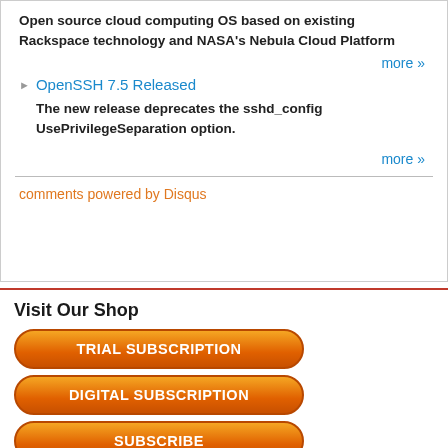Open source cloud computing OS based on existing Rackspace technology and NASA's Nebula Cloud Platform
more »
OpenSSH 7.5 Released
The new release deprecates the sshd_config UsePrivilegeSeparation option.
more »
comments powered by Disqus
Visit Our Shop
TRIAL SUBSCRIPTION
DIGITAL SUBSCRIPTION
SUBSCRIBE
Direct Download
Read full article as PDF: